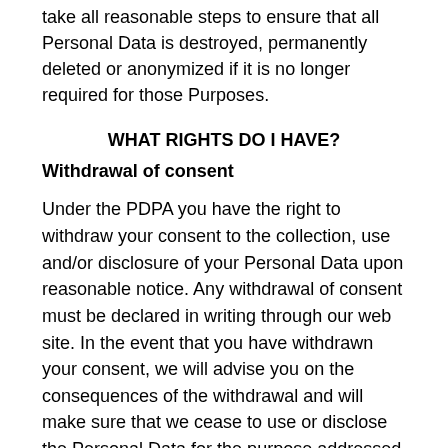take all reasonable steps to ensure that all Personal Data is destroyed, permanently deleted or anonymized if it is no longer required for those Purposes.
WHAT RIGHTS DO I HAVE?
Withdrawal of consent
Under the PDPA you have the right to withdraw your consent to the collection, use and/or disclosure of your Personal Data upon reasonable notice. Any withdrawal of consent must be declared in writing through our web site. In the event that you have withdrawn your consent, we will advise you on the consequences of the withdrawal and will make sure that we cease to use or disclose the Personal Data for the purpose addressed by the withdrawal, unless the use or disclosure